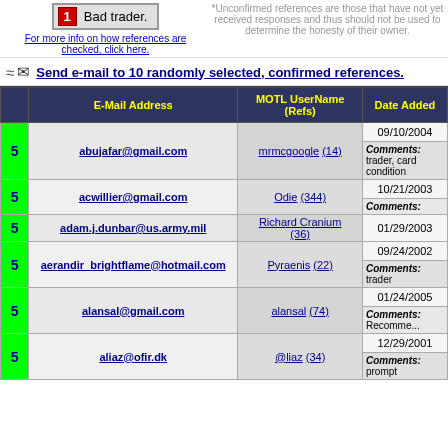Bad trader.
For more info on how references are checked, click here.
*Unconfirmed references are those that have not yet received responses and thus should not be used to determine the honesty of their owner.
Send e-mail to 10 randomly selected, confirmed references.
|  | E-Mail Address | MOTL UserName (Refs) | Date Added |
| --- | --- | --- | --- |
| 5 | abujafar@gmail.com | mrmcgoogle (14) | 09/10/2004 | Comments: trader, card condition |
| 5 | acwillier@gmail.com | Odie (344) | 10/21/2003 | Comments: |
| 5 | adam.j.dunbar@us.army.mil | Richard Cranium (36) | 01/29/2003 |
| 5 | aerandir_brightflame@hotmail.com | Pyraenis (22) | 09/24/2002 | Comments: trader |
| 5 | alansal@gmail.com | alansal (74) | 01/24/2005 | Comments: Recomme... |
| 5 | aliaz@ofir.dk | @liaz (34) | 12/29/2001 | Comments: prompt |